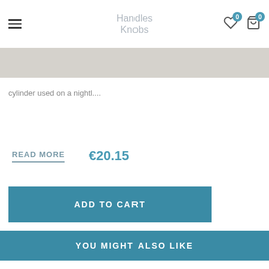Handles Knobs
cylinder used on a nightl....
READ MORE   €20.15
ADD TO CART
YOU MIGHT ALSO LIKE